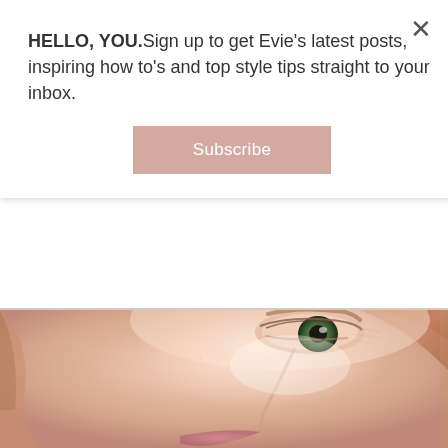HELLO, YOU.Sign up to get Evie's latest posts, inspiring how to's and top style tips straight to your inbox.
[Figure (other): Subscribe button with dusty rose/mauve background color, white text reading 'Subscribe']
[Figure (photo): Close-up photo of a woman's face showing her cheek, eye (hazel/green), nose, and lips. She has fair skin with a natural, dewy complexion and reddish-blonde hair. The image is cropped to show the right side of her face from forehead to chin.]